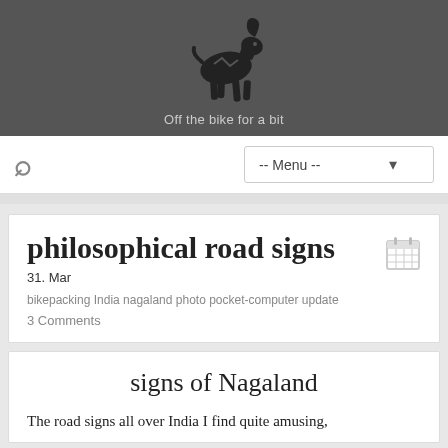[Figure (logo): Black silhouette of a mountain goat/ibex on dark grey background, with the tagline 'Off the bike for a bit' below it]
Off the bike for a bit
-- Menu --
philosophical road signs
31. Mar
bikepacking India nagaland photo pocket-computer update
3 Comments
signs of Nagaland
The road signs all over India I find quite amusing,